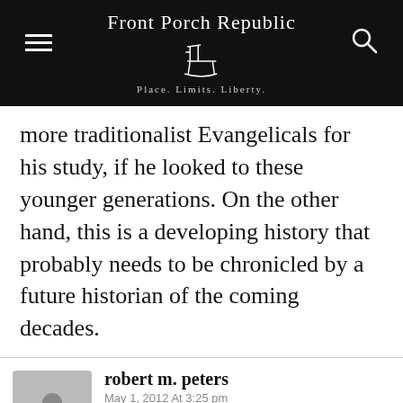Front Porch Republic — Place. Limits. Liberty.
more traditionalist Evangelicals for his study, if he looked to these younger generations. On the other hand, this is a developing history that probably needs to be chronicled by a future historian of the coming decades.
robert m. peters
May 1, 2012 At 3:25 pm
The Christian is not motivated by optimism but by hope. Wide is indeed the gulf between those two.